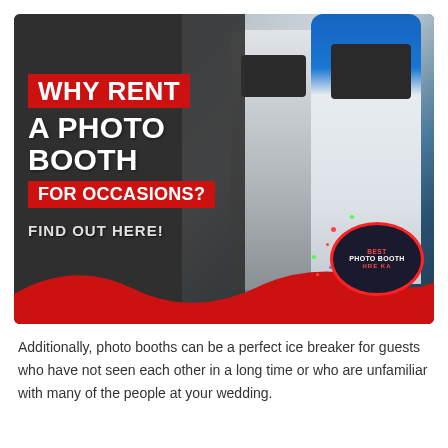[Figure (illustration): Promotional banner image showing EV charging stations in the background with dark overlay on the left side. Text overlay reads 'WHY RENT A PHOTO BOOTH FOR OCCASIONS? FIND OUT HERE!' with red highlight boxes. A red wave decorates the bottom and a circular logo badge reads 'BEST PHOTO BOOTH HRE KA' in the bottom right.]
Additionally, photo booths can be a perfect ice breaker for guests who have not seen each other in a long time or who are unfamiliar with many of the people at your wedding.